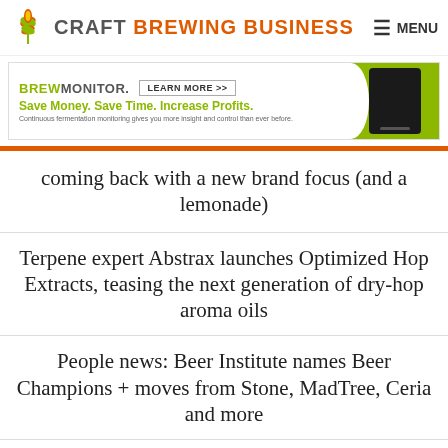CRAFT BREWING BUSINESS
[Figure (screenshot): BrewMonitor advertisement banner: 'BREWMONITOR. LEARN MORE >> Save Money. Save Time. Increase Profits. Continuous fermentation monitoring gives you more insight and control than ever before.' with green device image on right.]
coming back with a new brand focus (and a lemonade)
Terpene expert Abstrax launches Optimized Hop Extracts, teasing the next generation of dry-hop aroma oils
People news: Beer Institute names Beer Champions + moves from Stone, MadTree, Ceria and more
Craft Beer Canning Line Buyer's Guide 2020